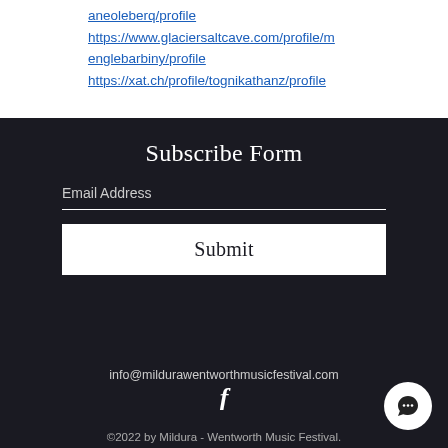aneoleberq/profile https://www.glaciersaltcave.com/profile/menglebarbiny/profile https://xat.ch/profile/tognikathanz/profile
Subscribe Form
Email Address
Submit
info@mildurawentworthmusicfestival.com
[Figure (illustration): Facebook social media icon (letter f) in white]
[Figure (illustration): Chat bubble icon with speech bubble in white on dark circular button]
©2022 by Mildura - Wentworth Music Festival.